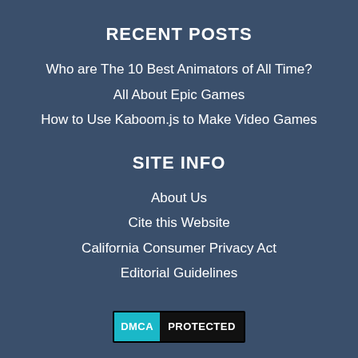RECENT POSTS
Who are The 10 Best Animators of All Time?
All About Epic Games
How to Use Kaboom.js to Make Video Games
SITE INFO
About Us
Cite this Website
California Consumer Privacy Act
Editorial Guidelines
[Figure (logo): DMCA PROTECTED badge logo]
CONNECT
Contact Us